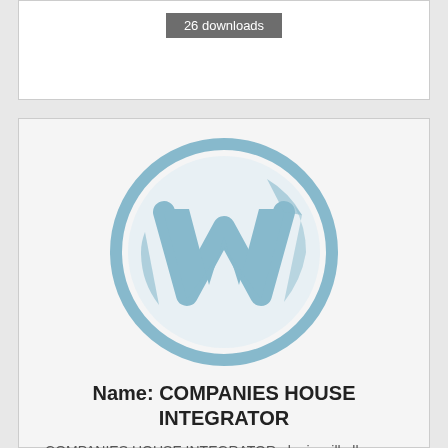26 downloads
[Figure (logo): WordPress logo — light blue circle with stylized W letter inside]
Name: COMPANIES HOUSE INTEGRATOR
COMPANIES HOUSE INTEGRATOR plugin will allow you to search for a company at Companies House...
Details